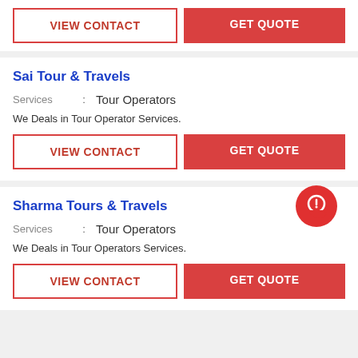VIEW CONTACT | GET QUOTE
Sai Tour & Travels
Services : Tour Operators
We Deals in Tour Operator Services.
VIEW CONTACT | GET QUOTE
Sharma Tours & Travels
Services : Tour Operators
We Deals in Tour Operators Services.
VIEW CONTACT | GET QUOTE